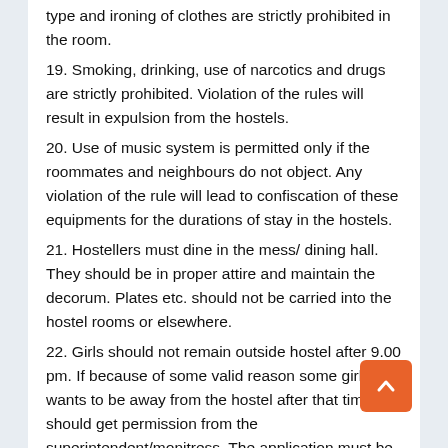type and ironing of clothes are strictly prohibited in the room.
19. Smoking, drinking, use of narcotics and drugs are strictly prohibited. Violation of the rules will result in expulsion from the hostels.
20. Use of music system is permitted only if the roommates and neighbours do not object. Any violation of the rule will lead to confiscation of these equipments for the durations of stay in the hostels.
21. Hostellers must dine in the mess/ dining hall. They should be in proper attire and maintain the decorum. Plates etc. should not be carried into the hostel rooms or elsewhere.
22. Girls should not remain outside hostel after 9.00 pm. If because of some valid reason some girl wants to be away from the hostel after that time she should get permission from the superintendent/monitress. The application must be